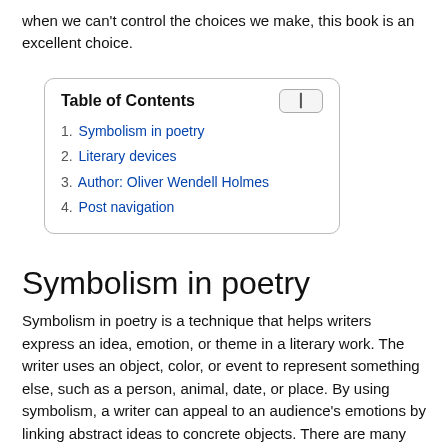when we can't control the choices we make, this book is an excellent choice.
| Table of Contents |
| --- |
| 1. Symbolism in poetry |
| 2. Literary devices |
| 3. Author: Oliver Wendell Holmes |
| 4. Post navigation |
Symbolism in poetry
Symbolism in poetry is a technique that helps writers express an idea, emotion, or theme in a literary work. The writer uses an object, color, or event to represent something else, such as a person, animal, date, or place. By using symbolism, a writer can appeal to an audience's emotions by linking abstract ideas to concrete objects. There are many examples of symbolism in poetry.